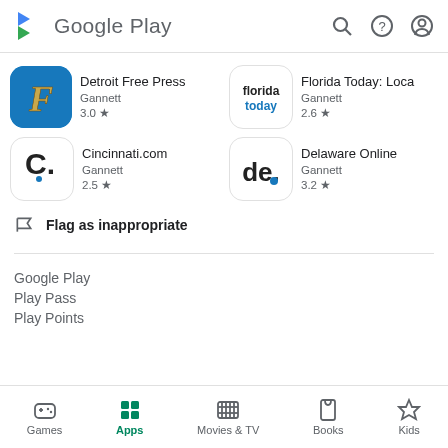[Figure (screenshot): Google Play store header with logo, search icon, help icon, and account icon]
[Figure (screenshot): App listing: Detroit Free Press by Gannett, rating 3.0 stars]
[Figure (screenshot): App listing: Florida Today: Loca by Gannett, rating 2.6 stars]
[Figure (screenshot): App listing: Cincinnati.com by Gannett, rating 2.5 stars]
[Figure (screenshot): App listing: Delaware Online by Gannett, rating 3.2 stars]
Flag as inappropriate
Google Play
Play Pass
Play Points
Games  Apps  Movies & TV  Books  Kids